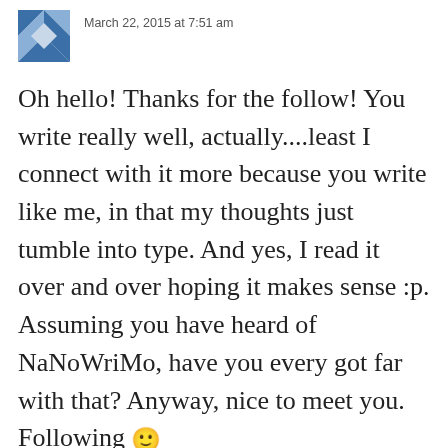March 22, 2015 at 7:51 am
Oh hello! Thanks for the follow! You write really well, actually....least I connect with it more because you write like me, in that my thoughts just tumble into type. And yes, I read it over and over hoping it makes sense :p. Assuming you have heard of NaNoWriMo, have you every got far with that? Anyway, nice to meet you. Following 🙂
Reply ↓
hmthreatte
March 29, 2015 at 1:04 am